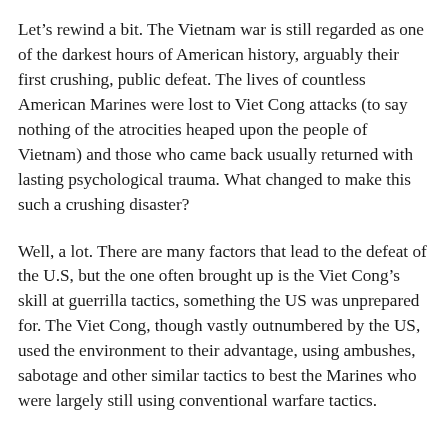Let's rewind a bit. The Vietnam war is still regarded as one of the darkest hours of American history, arguably their first crushing, public defeat. The lives of countless American Marines were lost to Viet Cong attacks (to say nothing of the atrocities heaped upon the people of Vietnam) and those who came back usually returned with lasting psychological trauma. What changed to make this such a crushing disaster?
Well, a lot. There are many factors that lead to the defeat of the U.S, but the one often brought up is the Viet Cong's skill at guerrilla tactics, something the US was unprepared for. The Viet Cong, though vastly outnumbered by the US, used the environment to their advantage, using ambushes, sabotage and other similar tactics to best the Marines who were largely still using conventional warfare tactics.